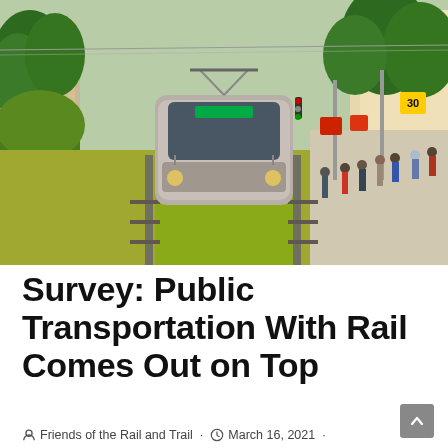[Figure (photo): A modern tram/streetcar on green grass tracks in a sunny European city street, flanked by trees and buildings, with pedestrians visible on the sidewalk to the right.]
Survey: Public Transportation With Rail Comes Out on Top
Friends of the Rail and Trail · March 16, 2021 ·